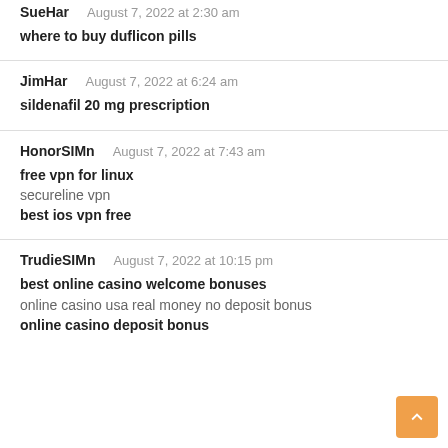SueHar — August 7, 2022 at 2:30 am
where to buy duflicon pills
JimHar — August 7, 2022 at 6:24 am
sildenafil 20 mg prescription
HonorSIMn — August 7, 2022 at 7:43 am
free vpn for linux
secureline vpn
best ios vpn free
TrudieSIMn — August 7, 2022 at 10:15 pm
best online casino welcome bonuses
online casino usa real money no deposit bonus
online casino deposit bonus